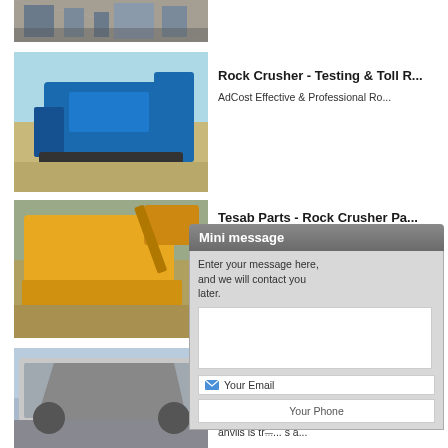[Figure (photo): Industrial machinery at a facility - partial view at top]
[Figure (photo): Blue rock crusher machine on sandy/gravel terrain]
Rock Crusher - Testing & Toll R...
AdCost Effective & Professional Ro...
[Figure (photo): Yellow rock crusher machine working on gravel pile]
Tesab Parts - Rock Crusher Pa...
Tesab Parts Center, Inc. are a spare... genuine T... are part of the Tesab Group, a tru... Ireland, pl...
[Figure (photo): Large rock crusher/conveyor machine against blue sky]
Crusher ...
VSI crushe... igh outer impact surface of either abras... anvils is tr... s a...
[Figure (screenshot): Mini message overlay dialog with text area, email field, and phone field]